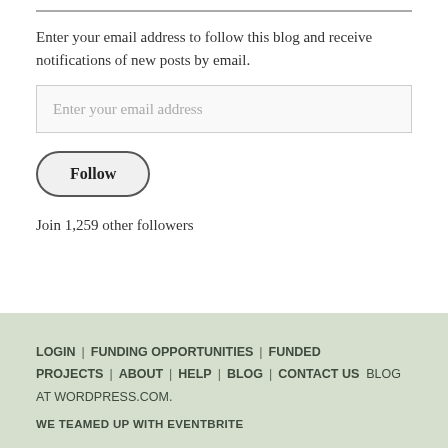Enter your email address to follow this blog and receive notifications of new posts by email.
Enter your email address
Follow
Join 1,259 other followers
LOGIN | FUNDING OPPORTUNITIES | FUNDED PROJECTS | ABOUT | HELP | BLOG | CONTACT US  BLOG AT WORDPRESS.COM.
WE TEAMED UP WITH EVENTBRITE